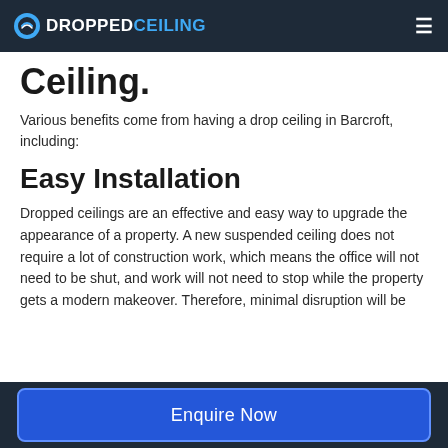DROPPEDCEILING
Ceiling.
Various benefits come from having a drop ceiling in Barcroft, including:
Easy Installation
Dropped ceilings are an effective and easy way to upgrade the appearance of a property. A new suspended ceiling does not require a lot of construction work, which means the office will not need to be shut, and work will not need to stop while the property gets a modern makeover. Therefore, minimal disruption will be
Enquire Now